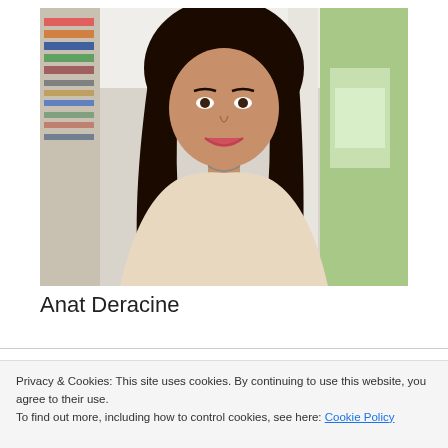[Figure (photo): Portrait photo of a smiling woman with long dark hair, wearing a light beige blouse, standing in front of bookshelves with green outdoor background visible.]
Anat Deracine
Privacy & Cookies: This site uses cookies. By continuing to use this website, you agree to their use.
To find out more, including how to control cookies, see here: Cookie Policy
Close and accept
Translate »
ting for as long as I can remember